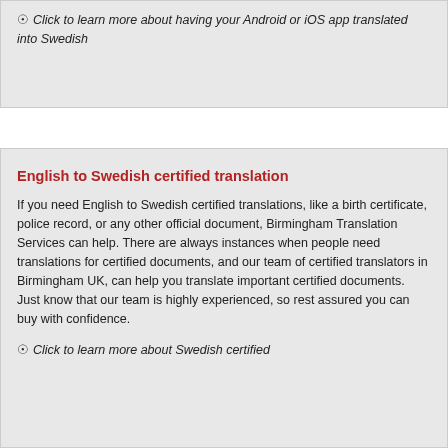Click to learn more about having your Android or iOS app translated into Swedish
English to Swedish certified translation
If you need English to Swedish certified translations, like a birth certificate, police record, or any other official document, Birmingham Translation Services can help. There are always instances when people need translations for certified documents, and our team of certified translators in Birmingham UK, can help you translate important certified documents. Just know that our team is highly experienced, so rest assured you can buy with confidence.
Click to learn more about Swedish certified